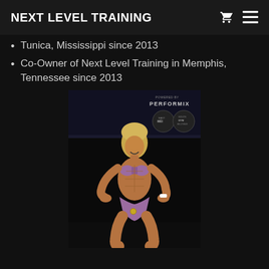NEXT LEVEL TRAINING
Tunica, Mississippi since 2013
Co-Owner of Next Level Training in Memphis, Tennessee since 2013
[Figure (photo): A female bodybuilder/fitness competitor posing on stage in a bikini, with logos including PERFORMIX and EAST MEMPHIS/EAST MEM visible in the background banner, at a bodybuilding competition]